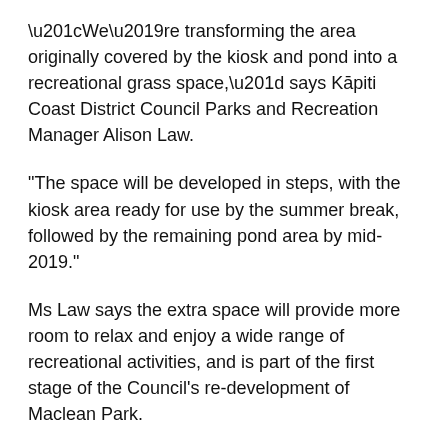“We’re transforming the area originally covered by the kiosk and pond into a recreational grass space,” says Kāpiti Coast District Council Parks and Recreation Manager Alison Law.
“The space will be developed in steps, with the kiosk area ready for use by the summer break, followed by the remaining pond area by mid-2019.”
Ms Law says the extra space will provide more room to relax and enjoy a wide range of recreational activities, and is part of the first stage of the Council’s re-development of Maclean Park.
“The plan is to have the entire first stage, which also includes the installation of outdoor furniture and BBQs, completed by mid-2019.”
Ms Law says later stages of the Park’s development will